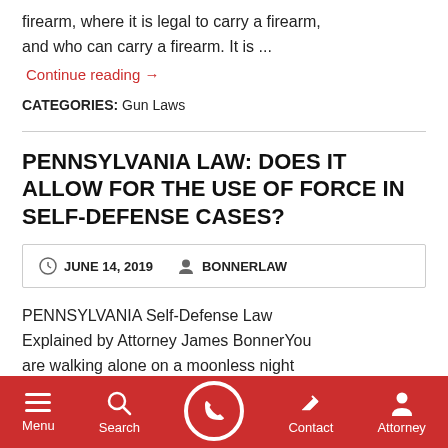firearm, where it is legal to carry a firearm, and who can carry a firearm. It is ...
Continue reading →
CATEGORIES: Gun Laws
PENNSYLVANIA LAW: DOES IT ALLOW FOR THE USE OF FORCE IN SELF-DEFENSE CASES?
JUNE 14, 2019   BONNERLAW
PENNSYLVANIA Self-Defense Law Explained by Attorney James BonnerYou are walking alone on a moonless night
Menu  Search  [phone]  Contact  Attorney